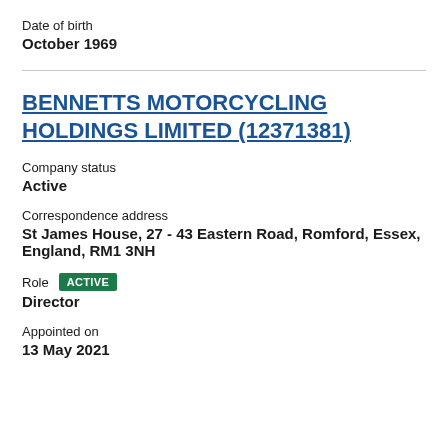Date of birth
October 1969
BENNETTS MOTORCYCLING HOLDINGS LIMITED (12371381)
Company status
Active
Correspondence address
St James House, 27 - 43 Eastern Road, Romford, Essex, England, RM1 3NH
Role  ACTIVE
Director
Appointed on
13 May 2021